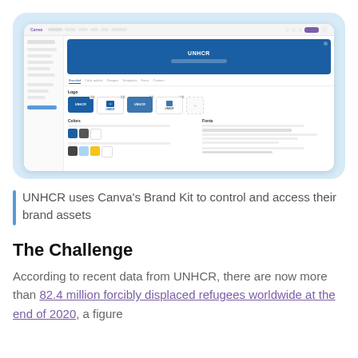[Figure (screenshot): Screenshot of Canva's Brand Kit interface showing UNHCR branding elements including logos, colors, and fonts in a browser window on a light blue background]
UNHCR uses Canva's Brand Kit to control and access their brand assets
The Challenge
According to recent data from UNHCR, there are now more than 82.4 million forcibly displaced refugees worldwide at the end of 2020, a figure